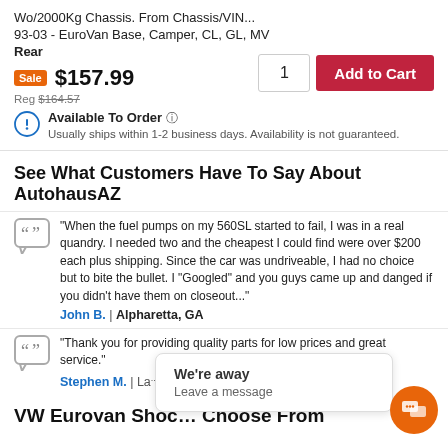Wo/2000Kg Chassis. From Chassis/VIN...
93-03 - EuroVan Base, Camper, CL, GL, MV
Rear
Sale $157.99
Reg $164.57
1  Add to Cart
Available To Order (?)
Usually ships within 1-2 business days. Availability is not guaranteed.
See What Customers Have To Say About AutohausAZ
"When the fuel pumps on my 560SL started to fail, I was in a real quandry. I needed two and the cheapest I could find were over $200 each plus shipping. Since the car was undriveable, I had no choice but to bite the bullet. I "Googled" and you guys came up and danged if you didn't have them on closeout..."
John B. | Alpharetta, GA
"Thank you for providing quality parts for low prices and great service."
Stephen M. | La...
We're away
Leave a message
VW Eurovan Shoc... Choose From